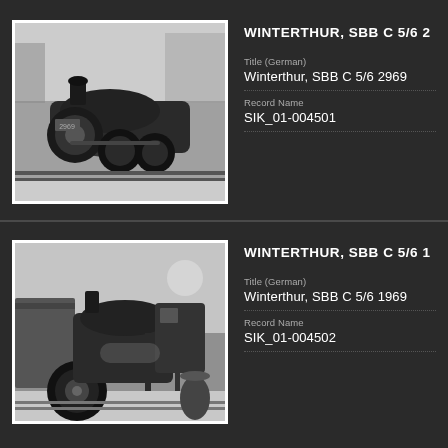WINTERTHUR, SBB C 5/6 2
[Figure (photo): Black and white photograph of a large steam locomotive (SBB C 5/6 2969) in snowy winter conditions at Winterthur, front three-quarter view showing the engine's large boiler and driving wheels.]
Title (German)
Winterthur, SBB C 5/6 2969
Record Name
SIK_01-004501
WINTERTHUR, SBB C 5/6 1
[Figure (photo): Black and white photograph of a steam locomotive (SBB C 5/6 1969) in snowy winter conditions at Winterthur, showing the side view of the engine with a large circular front wheel visible in the foreground.]
Title (German)
Winterthur, SBB C 5/6 1969
Record Name
SIK_01-004502